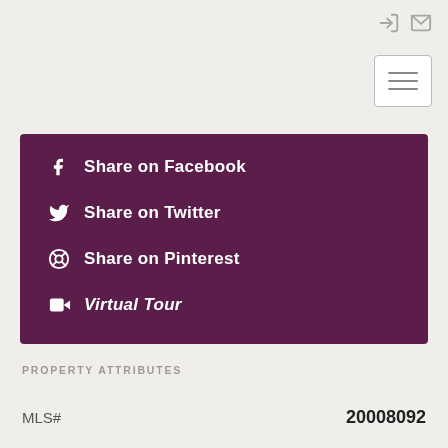[Figure (infographic): Top-right navigation icons: sign-in and email envelope icons]
[Figure (infographic): Hamburger menu button with three horizontal lines]
Share on Facebook
Share on Twitter
Share on Pinterest
Virtual Tour
PROPERTY ATTRIBUTES
MLS#    20008092